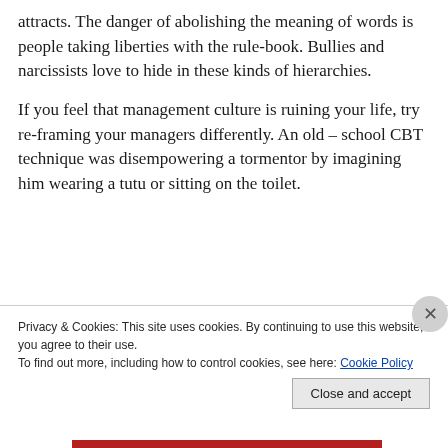attracts. The danger of abolishing the meaning of words is people taking liberties with the rule-book. Bullies and narcissists love to hide in these kinds of hierarchies.
If you feel that management culture is ruining your life, try re-framing your managers differently. An old – school CBT technique was disempowering a tormentor by imagining him wearing a tutu or sitting on the toilet.
[Figure (screenshot): Red advertisement banner with italic white text 'everyone else's.' and a black 'Start reading' button, partially obscured by cookie consent bar]
Privacy & Cookies: This site uses cookies. By continuing to use this website, you agree to their use.
To find out more, including how to control cookies, see here: Cookie Policy
Close and accept